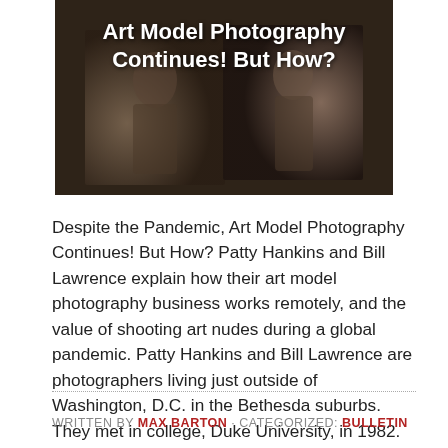[Figure (photo): Sepia-toned art model photography image with two overlapping portrait-style photos on dark background, with text overlay reading 'Art Model Photography Continues! But How?']
Despite the Pandemic, Art Model Photography Continues! But How? Patty Hankins and Bill Lawrence explain how their art model photography business works remotely, and the value of shooting art nudes during a global pandemic. Patty Hankins and Bill Lawrence are photographers living just outside of Washington, D.C. in the Bethesda suburbs. They met in college, Duke University, in 1982. Though Bill earned his degree in biomedical engineering and Patty hers in history and public policy, they share an avocational passion: art model photography. Art model photography is a form of portraiture . . . [Read more...]
WRITTEN BY MAX BARTON · CATEGORIZED: BULLETIN